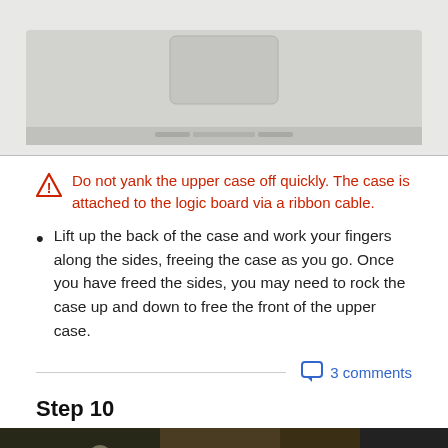[Figure (photo): Top-down view of a MacBook showing the trackpad and bottom edge of the upper case]
Do not yank the upper case off quickly. The case is attached to the logic board via a ribbon cable.
Lift up the back of the case and work your fingers along the sides, freeing the case as you go. Once you have freed the sides, you may need to rock the case up and down to free the front of the upper case.
3 comments
Step 10
[Figure (photo): Bottom portion of a MacBook repair image for Step 10]